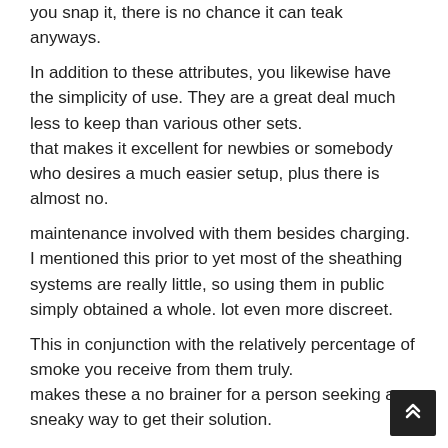you snap it, there is no chance it can teak anyways.
In addition to these attributes, you likewise have the simplicity of use. They are a great deal much less to keep than various other sets.
that makes it excellent for newbies or somebody who desires a much easier setup, plus there is almost no.
maintenance involved with them besides charging. I mentioned this prior to yet most of the sheathing systems are really little, so using them in public simply obtained a whole. lot even more discreet.
This in conjunction with the relatively percentage of smoke you receive from them truly.
makes these a no brainer for a person seeking a sneaky way to get their solution.
{ARE THEY REALLY EXCELLENT